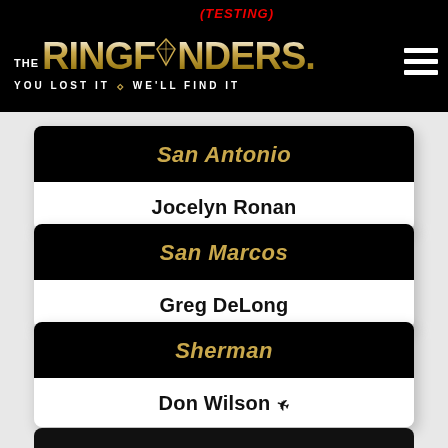[Figure (logo): The Ring Finders logo with tagline 'YOU LOST IT WE'LL FIND IT' on black background, with (TESTING) in red above, and hamburger menu icon on right]
San Antonio
Jocelyn Ronan
San Marcos
Greg DeLong
Sherman
Don Wilson